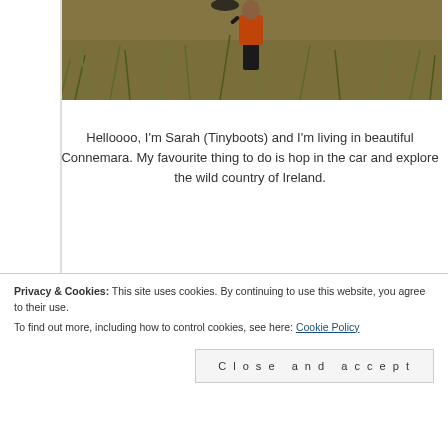[Figure (photo): Person in orange hoodie standing in a field of tall grass, photographed from below/mid level]
Helloooo, I'm Sarah (Tinyboots) and I'm living in beautiful Connemara. My favourite thing to do is hop in the car and explore the wild country of Ireland.
On this site, you'll find tales of my travels, honest real experiences and the best places to visit in Galway, Ireland and wherever else my tiny boots take me.
So, if you're planning a trip to Ireland, you are in the right place! Head to my travel tab where you can look through
Privacy & Cookies: This site uses cookies. By continuing to use this website, you agree to their use. To find out more, including how to control cookies, see here: Cookie Policy
Close and accept